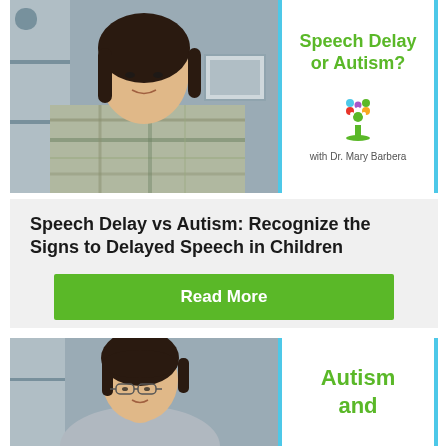[Figure (photo): Woman with dark hair wearing a plaid shirt, seated in a room with shelves and a framed photo in the background.]
Speech Delay or Autism?
[Figure (logo): Colorful puzzle-piece tree logo for the Turn Autism Around brand with Dr. Mary Barbera.]
with Dr. Mary Barbera
Speech Delay vs Autism: Recognize the Signs to Delayed Speech in Children
Read More
[Figure (photo): Woman with dark hair and glasses, partial view, in a room with shelves.]
Autism and